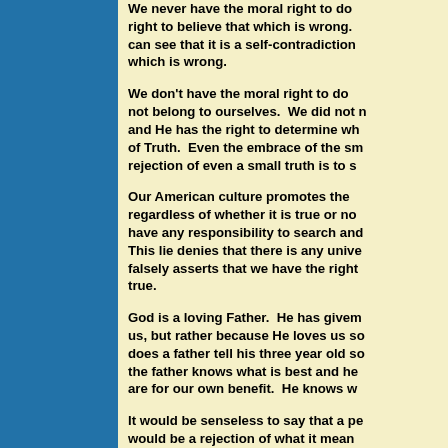We never have the moral right to do right to believe that which is wrong. can see that it is a self-contradiction which is wrong.
We don't have the moral right to do not belong to ourselves. We did not and He has the right to determine wh of Truth. Even the embrace of the s rejection of even a small truth is to s
Our American culture promotes the regardless of whether it is true or no have any responsibility to search and This lie denies that there is any univ falsely asserts that we have the right true.
God is a loving Father. He has given us, but rather because He loves us so does a father tell his three year old s the father knows what is best and he are for our own benefit. He knows w
It would be senseless to say that a pe would be a rejection of what it mean